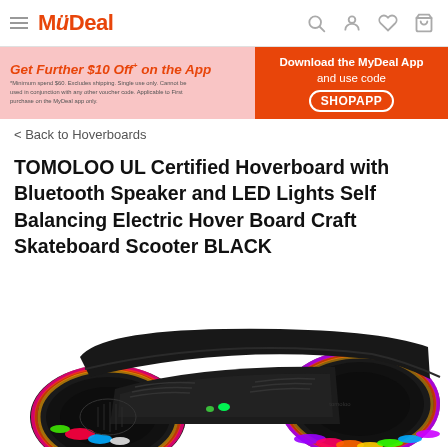MyDeal
[Figure (infographic): Promotional banner: Get Further $10 Off+ on the App. Download the MyDeal App and use code SHOPAPP.]
< Back to Hoverboards
TOMOLOO UL Certified Hoverboard with Bluetooth Speaker and LED Lights Self Balancing Electric Hover Board Craft Skateboard Scooter BLACK
[Figure (photo): Black TOMOLOO hoverboard with LED lights glowing in rainbow colors on the wheels, shot from a low angle on white background.]